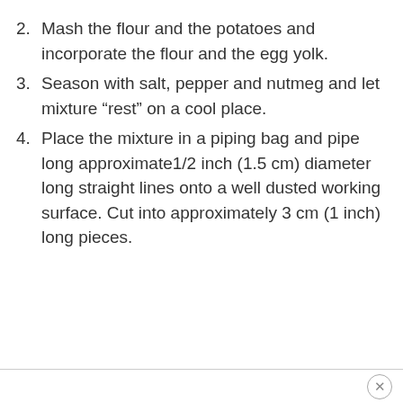2. Mash the flour and the potatoes and incorporate the flour and the egg yolk.
3. Season with salt, pepper and nutmeg and let mixture “rest” on a cool place.
4. Place the mixture in a piping bag and pipe long approximate1/2 inch (1.5 cm) diameter long straight lines onto a well dusted working surface. Cut into approximately 3 cm (1 inch) long pieces.
×